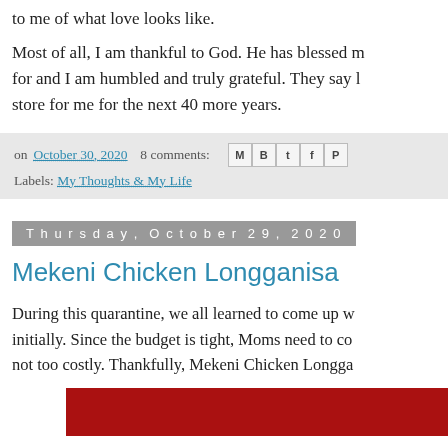to me of what love looks like.
Most of all, I am thankful to God. He has blessed m for and I am humbled and truly grateful. They say l store for me for the next 40 more years.
on October 30, 2020   8 comments:  Labels: My Thoughts & My Life
Thursday, October 29, 2020
Mekeni Chicken Longganisa
During this quarantine, we all learned to come up w initially. Since the budget is tight, Moms need to co not too costly. Thankfully, Mekeni Chicken Longga
[Figure (photo): Red block/image at bottom of page, partially visible]